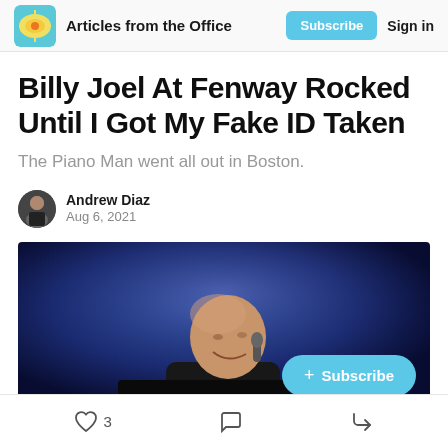Articles from the Office | Subscribe | Sign in
Billy Joel At Fenway Rocked Until I Got My Fake ID Taken
The Piano Man went all out in Boston.
Andrew Diaz
Aug 6, 2021
[Figure (photo): Photo of Billy Joel performing on stage, bald man smiling near a microphone, dark blue stage lighting, with a cyan Subscribe button overlay in the bottom right]
3 (likes) | comment icon | share icon